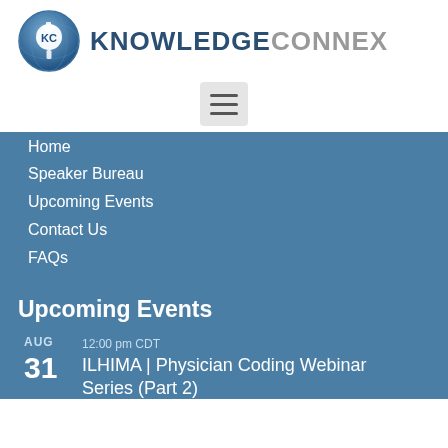[Figure (logo): KnowledgeConnex logo with circular KC icon and brand name text]
[Figure (screenshot): Hamburger menu button icon (three horizontal lines) on light gray background]
Home
Speaker Bureau
Upcoming Events
Contact Us
FAQs
Upcoming Events
AUG
31  12:00 pm CDT  ILHIMA | Physician Coding Webinar Series (Part 2)